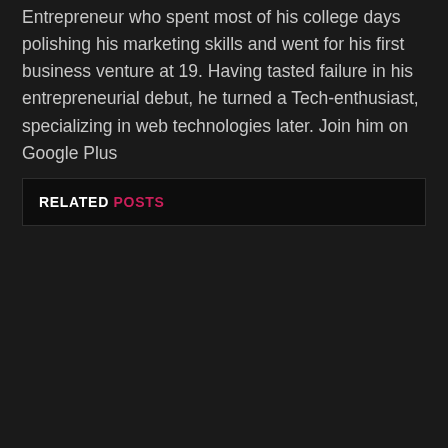Entrepreneur who spent most of his college days polishing his marketing skills and went for his first business venture at 19. Having tasted failure in his entrepreneurial debut, he turned a Tech-enthusiast, specializing in web technologies later. Join him on Google Plus
RELATED POSTS